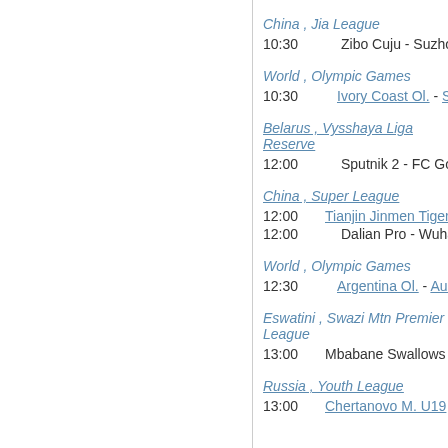China , Jia League
10:30   Zibo Cuju - Suzhou D
World , Olympic Games
10:30   Ivory Coast Ol. - Saudi ...
Belarus , Vysshaya Liga Reserve
12:00   Sputnik 2 - FC Gor
China , Super League
12:00   Tianjin Jinmen Tiger - Shan
12:00   Dalian Pro - Wuha
World , Olympic Games
12:30   Argentina Ol. - Austr
Eswatini , Swazi Mtn Premier League
13:00   Mbabane Swallows - Gre
Russia , Youth League
13:00   Chertanovo M. U19 - Arse